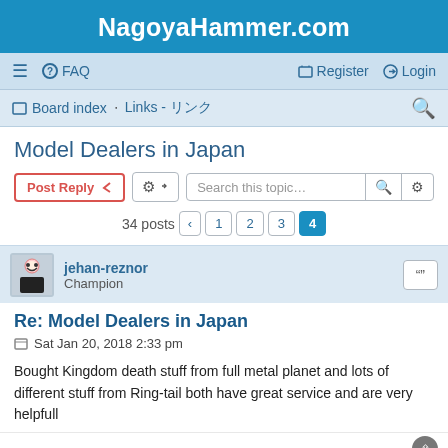NagoyaHammer.com
≡  FAQ    Register  Login
Board index · Links - リンク
Model Dealers in Japan
Post Reply  [tools]  Search this topic...  34 posts  < 1 2 3 4
jehan-reznor
Champion
Re: Model Dealers in Japan
Sat Jan 20, 2018 2:33 pm
Bought Kingdom death stuff from full metal planet and lots of different stuff from Ring-tail both have great service and are very helpfull
Miguelsan
Champion
Re: Model Dealers in Ja